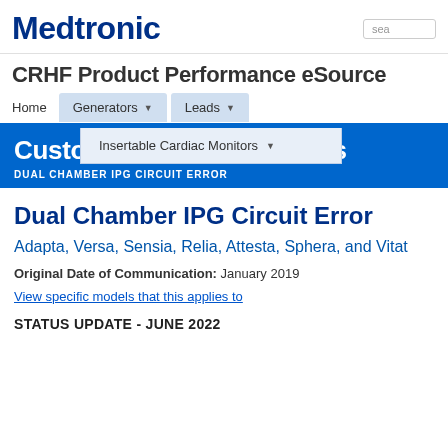[Figure (logo): Medtronic company logo in dark blue bold text]
CRHF Product Performance eSource
Home | Generators ▾ | Leads ▾
Insertable Cardiac Monitors ▾
Customer Communications
DUAL CHAMBER IPG CIRCUIT ERROR
Dual Chamber IPG Circuit Error
Adapta, Versa, Sensia, Relia, Attesta, Sphera, and Vitat
Original Date of Communication: January 2019
View specific models that this applies to
STATUS UPDATE - JUNE 2022